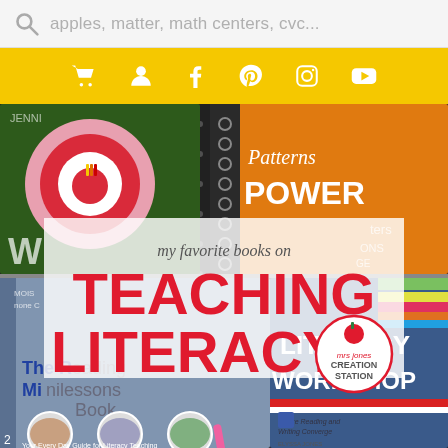[Figure (screenshot): Website header with search bar showing placeholder text 'apples, matter, math centers, cvc...' and a yellow toolbar with icons for cart, user, Facebook, Pinterest, Instagram, and YouTube]
[Figure (photo): Blog post thumbnail showing books about teaching literacy on a black and white patterned background. Books visible include 'The Reading Minilessons Book', a book with 'Patterns Power', and a literacy workshop book. Overlay text reads 'my favorite books on TEACHING LITERACY' with a Mrs. Jones Creation Station logo circle.]